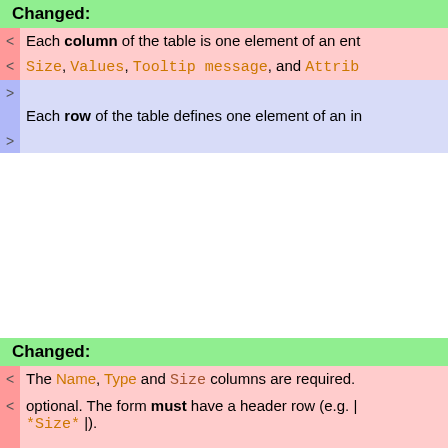Changed:
Each column of the table is one element of an ent
Size, Values, Tooltip message, and Attrib
Each row of the table defines one element of an in
Changed:
The Name, Type and Size columns are required. optional. The form must have a header row (e.g. | *Size* |).
Name column: Name is the name of the form field
Type, Size, Value columns: Type, Size and Val size and initial value for this field:
| Name | Type | Size | Values | Tooltip message |
| --- | --- | --- | --- | --- |